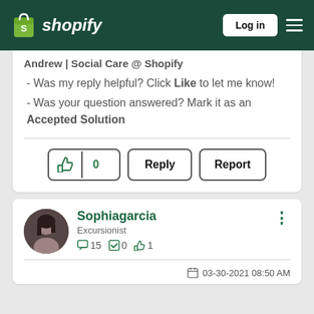Shopify – Log in
Andrew | Social Care @ Shopify
 - Was my reply helpful? Click Like to let me know!
 - Was your question answered? Mark it as an Accepted Solution
Like 0 | Reply | Report
Sophiagarcia
Excursionist
15 posts  0 accepted solutions  1 like
03-30-2021 08:50 AM